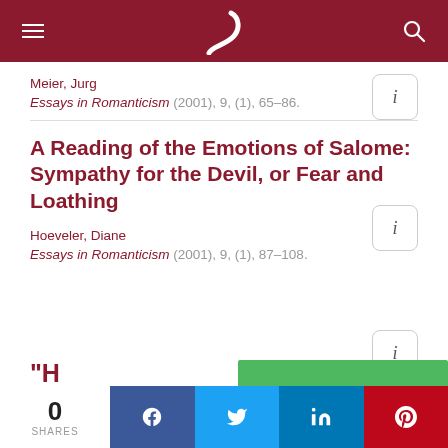Navigation bar with menu, logo, and search
Meier, Jurg
Essays in Romanticism (2001), 9, (1), 65–86.
A Reading of the Emotions of Salome: Sympathy for the Devil, or Fear and Loathing
Hoeveler, Diane
Essays in Romanticism (2001), 9, (1), 87–108.
0 SHARES | Facebook | Twitter | LinkedIn | Pinterest